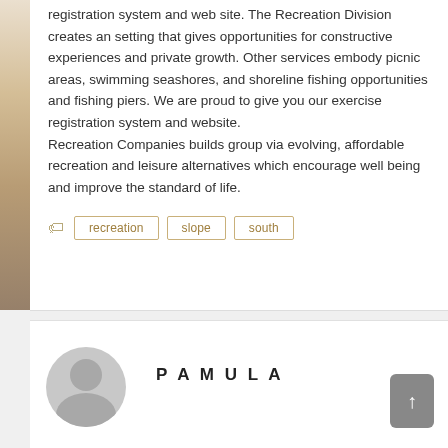registration system and web site. The Recreation Division creates an setting that gives opportunities for constructive experiences and private growth. Other services embody picnic areas, swimming seashores, and shoreline fishing opportunities and fishing piers. We are proud to give you our exercise registration system and website.
Recreation Companies builds group via evolving, affordable recreation and leisure alternatives which encourage well being and improve the standard of life.
recreation
slope
south
PAMULA